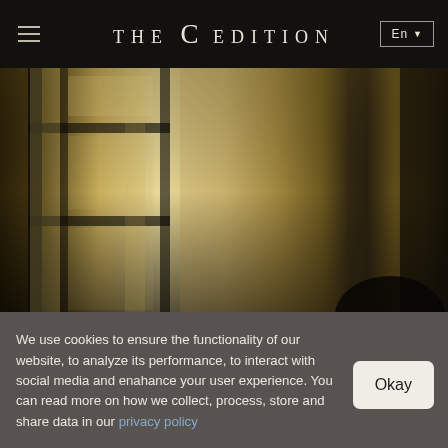THE C EDITION
[Figure (photo): Dark interior photograph showing a door frame with window panes and warm ambient light, with a person's head silhouette visible in the lower right corner]
We use cookies to ensure the functionality of our website, to analyze its performance, to interact with social media and enahance your user experience. You can read more on how we collect, process, store and share data in our privacy policy